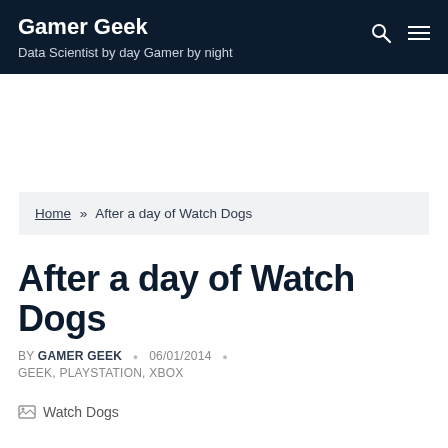Gamer Geek
Data Scientist by day Gamer by night
Home » After a day of Watch Dogs
After a day of Watch Dogs
BY GAMER GEEK · 06/01/2014 ·
GEEK, PLAYSTATION, XBOX
[Figure (photo): Watch Dogs image placeholder]